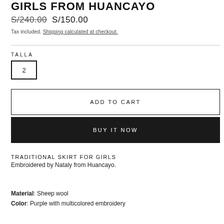GIRLS FROM HUANCAYO
S/240.00  S/150.00
Tax included. Shipping calculated at checkout.
TALLA
2
ADD TO CART
BUY IT NOW
TRADITIONAL SKIRT FOR GIRLS
Embroidered by Nataly from Huancayo.
Material: Sheep wool
Color: Purple with multicolored embroidery